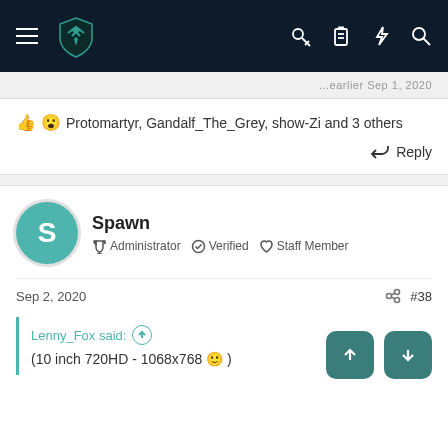Navigation bar with hamburger menu, logo, key icon, clipboard icon, lightning icon, search icon
👍😮 Protomartyr, Gandalf_The_Grey, show-Zi and 3 others
Reply
Spawn
Administrator · Verified · Staff Member
Sep 2, 2020
#38
Lenny_Fox said:
(10 inch 720HD - 1068x768 🙂 )